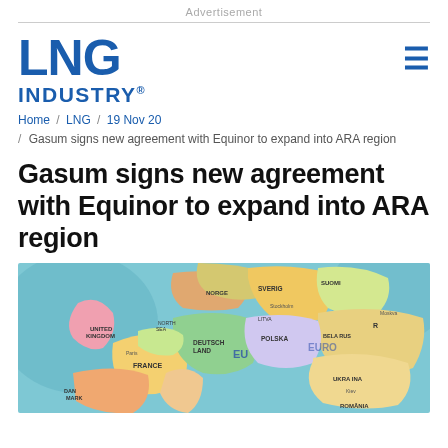Advertisement
[Figure (logo): LNG INDUSTRY logo in blue bold text]
Home / LNG / 19 Nov 20 / Gasum signs new agreement with Equinor to expand into ARA region
Gasum signs new agreement with Equinor to expand into ARA region
[Figure (map): Colorful political map of Europe showing countries including France, Germany, Poland, Ukraine, Sweden, Finland, and others]